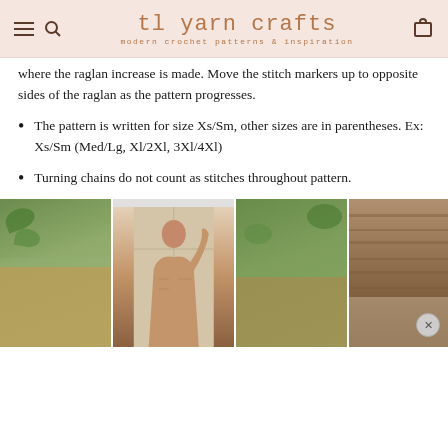tl yarn crafts — modern crochet patterns & inspiration
where the raglan increase is made. Move the stitch markers up to opposite sides of the raglan as the pattern progresses.
The pattern is written for size Xs/Sm, other sizes are in parentheses. Ex: Xs/Sm (Med/Lg, Xl/2Xl, 3Xl/4Xl)
Turning chains do not count as stitches throughout pattern.
[Figure (photo): Photo collage of a person wearing a chunky crochet raglan sweater, shown in four side-by-side panels with green foliage and wooden architectural elements in the background.]